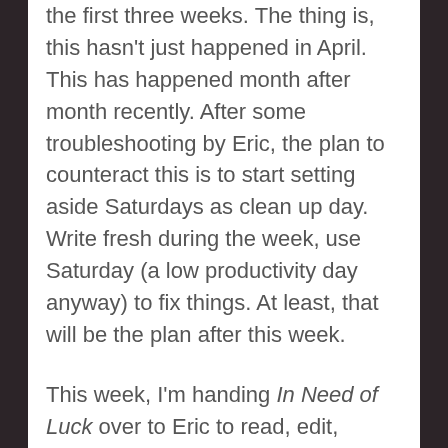the first three weeks. The thing is, this hasn't just happened in April. This has happened month after month recently. After some troubleshooting by Eric, the plan to counteract this is to start setting aside Saturdays as clean up day. Write fresh during the week, use Saturday (a low productivity day anyway) to fix things. At least, that will be the plan after this week.
This week, I'm handing In Need of Luck over to Eric to read, edit, rewrite, etc. I'm not finished with In Need of Luck, but I'm sick of fiddling around with it. I'm going to finish up some notes today and then it's all Eric's. I'm shifting goals where appropriate.
Complicating factors this week: Web set up for summer frisbee league. Play starts Tuesday and I don't have info on teams or the exact schedule yet. I also have league